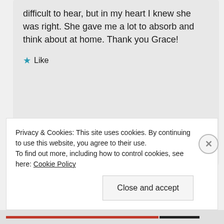difficult to hear, but in my heart I knew she was right. She gave me a lot to absorb and think about at home. Thank you Grace!
★ Like
MAY 31, 2019 AT 3:54 PM LOG IN TO REPLY
Privacy & Cookies: This site uses cookies. By continuing to use this website, you agree to their use. To find out more, including how to control cookies, see here: Cookie Policy
Close and accept